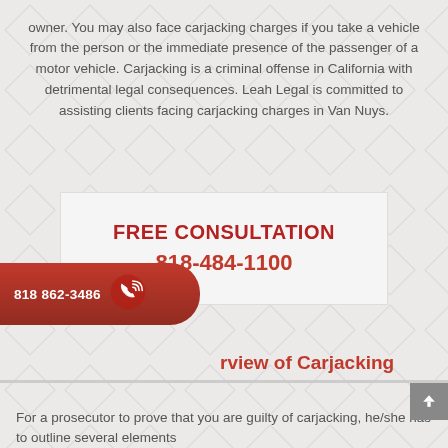owner. You may also face carjacking charges if you take a vehicle from the person or the immediate presence of the passenger of a motor vehicle. Carjacking is a criminal offense in California with detrimental legal consequences. Leah Legal is committed to assisting clients facing carjacking charges in Van Nuys.
FREE CONSULTATION
818-484-1100
[Figure (infographic): Red pill-shaped call button with phone icon and number 818 862-3486]
Overview of Carjacking
For a prosecutor to prove that you are guilty of carjacking, he/she has to outline several elements